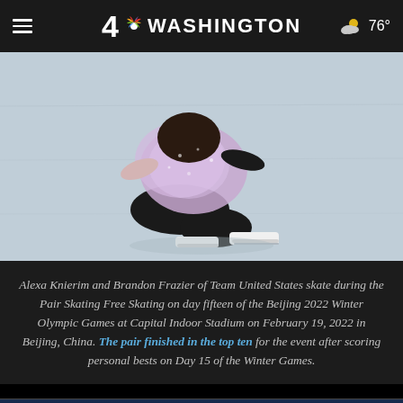4 NBC WASHINGTON  76°
[Figure (photo): Figure skater on ice, kneeling on ice wearing purple/lavender glittery costume and white skates, close-up view from above]
Alexa Knierim and Brandon Frazier of Team United States skate during the Pair Skating Free Skating on day fifteen of the Beijing 2022 Winter Olympic Games at Capital Indoor Stadium on February 19, 2022 in Beijing, China. The pair finished in the top ten for the event after scoring personal bests on Day 15 of the Winter Games.
[Figure (photo): Two figure skaters celebrating with arms raised on ice rink with blue lighting, photo credit: Manan Vatsyayana/AFP via Getty Images]